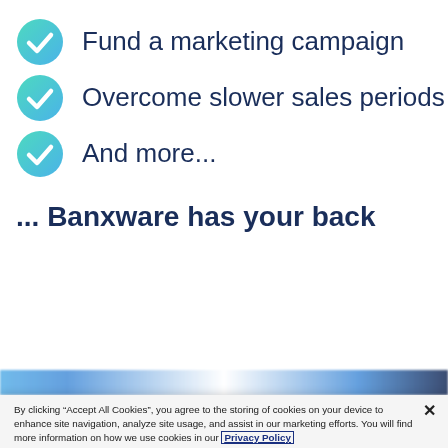Fund a marketing campaign
Overcome slower sales periods
And more...
... Banxware has your back
[Figure (screenshot): Partial blurred blue text bar partially visible at the bottom of the main content area]
By clicking “Accept All Cookies”, you agree to the storing of cookies on your device to enhance site navigation, analyze site usage, and assist in our marketing efforts. You will find more information on how we use cookies in our Privacy Policy
Cookies Settings
Accept All Cookies